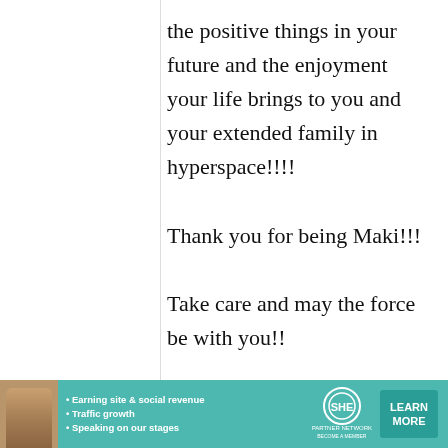the positive things in your future and the enjoyment your life brings to you and your extended family in hyperspace!!!!

Thank you for being Maki!!!

Take care and may the force be with you!!
[Figure (infographic): Advertisement banner for SHE Partner Network. Teal/green background with a photo of a woman, bullet points listing 'Earning site & social revenue', 'Traffic growth', 'Speaking on our stages', SHE logo, and a 'LEARN MORE' button.]